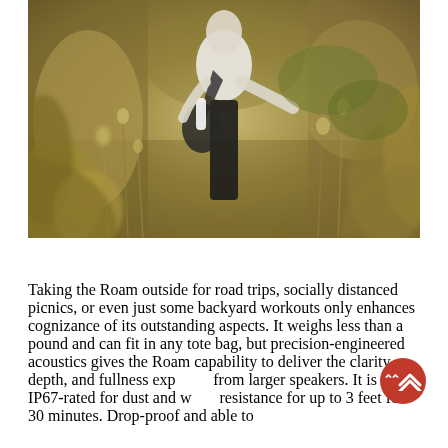[Figure (photo): Person wearing white long-sleeve shirt and black pants walking through a field of dry grass and wildflowers, carrying a black bag with a white cylindrical object (Roam speaker) tucked inside. The foreground and background are blurred with warm-toned dried plants.]
Taking the Roam outside for road trips, socially distanced picnics, or even just some backyard workouts only enhances cognizance of its outstanding aspects. It weighs less than a pound and can fit in any tote bag, but precision-engineered acoustics gives the Roam capability to deliver the clarity, depth, and fullness expected from larger speakers. It is also IP67-rated for dust and water resistance for up to 3 feet for 30 minutes. Drop-proof and able to